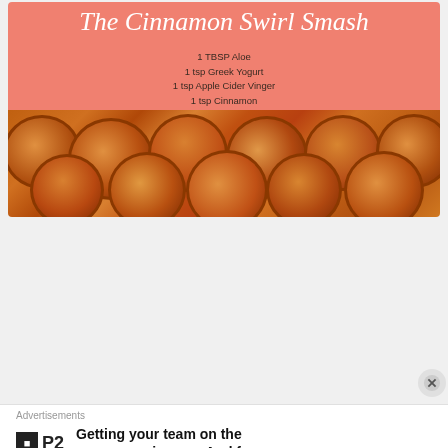[Figure (photo): Cinnamon Swirl Smash recipe card with salmon/orange header showing title in cursive white italic text and ingredient list, with a photo of cinnamon rolls below]
[Figure (screenshot): Social media profile card for user missrubysweetcheeks with avatar, subtitle 'Mike Block · Pachelbel Canon in D', and a blue 'View profile' button, followed by a dark video thumbnail]
Advertisements
[Figure (logo): P2 logo: small black square with white 'p' icon next to bold 'P2' text]
Getting your team on the same page is easy. And free.